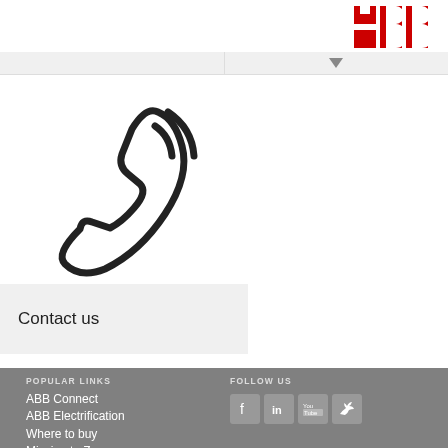[Figure (logo): ABB logo in red at top right corner]
[Figure (illustration): Phone/telephone icon outline with signal waves, indicating contact by phone]
Contact us
POPULAR LINKS | ABB Connect | ABB Electrification | Where to buy | Mission to Zero | FOLLOW US
ABB Connect
ABB Electrification
Where to buy
Mission to Zero